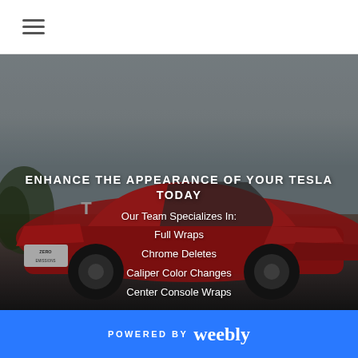≡ (hamburger menu icon)
[Figure (photo): A red Tesla Model S parked on a dirt road with an overcast sky background. The car has a 'ZERO EMISSIONS' license plate visible. The image serves as a hero background with a semi-transparent dark overlay.]
ENHANCE THE APPEARANCE OF YOUR TESLA TODAY
Our Team Specializes In:
Full Wraps
Chrome Deletes
Caliper Color Changes
Center Console Wraps
POWERED BY weebly